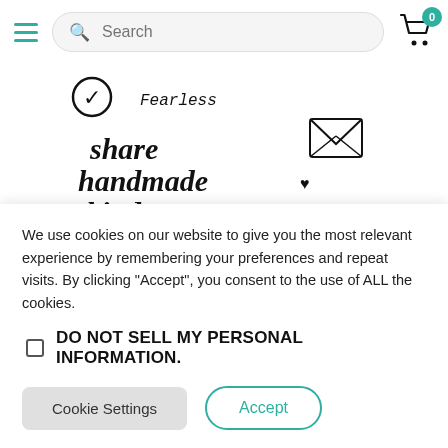Search | Cart (0)
[Figure (illustration): A craft stamp set featuring handwritten-style text: 'share handmade kindness', 'throw kindness around like confetti', 'a bit of kindness to brighten your day', a circular 'KINDNESS ENCLOSED' stamp with a heart, an envelope icon, heart symbols, and decorative dots.]
We use cookies on our website to give you the most relevant experience by remembering your preferences and repeat visits. By clicking “Accept”, you consent to the use of ALL the cookies.
DO NOT SELL MY PERSONAL INFORMATION.
Cookie Settings
Accept